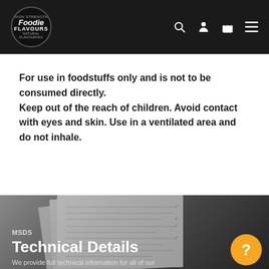Foodie Flavours — navigation header with logo, search, account, basket, and menu icons
For use in foodstuffs only and is not to be consumed directly. Keep out of the reach of children. Avoid contact with eyes and skin. Use in a ventilated area and do not inhale.
[Figure (photo): Grayscale photo of MSDS/technical documents laid open on a dark surface]
MSDS
Technical Details
We provide full technical information for all of our